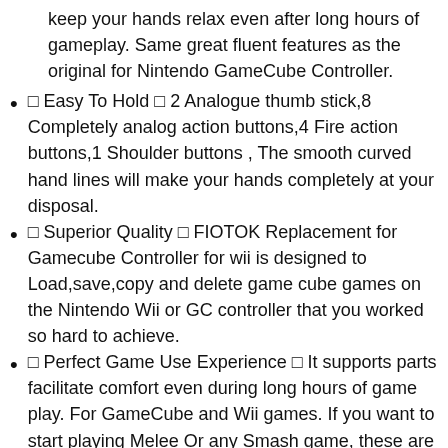keep your hands relax even after long hours of gameplay. Same great fluent features as the original for Nintendo GameCube Controller.
✿ Easy To Hold ✿ 2 Analogue thumb stick,8 Completely analog action buttons,4 Fire action buttons,1 Shoulder buttons , The smooth curved hand lines will make your hands completely at your disposal.
✿ Superior Quality ✿ FIOTOK Replacement for Gamecube Controller for wii is designed to Load,save,copy and delete game cube games on the Nintendo Wii or GC controller that you worked so hard to achieve.
✿ Perfect Game Use Experience ✿ It supports parts facilitate comfort even during long hours of game play. For GameCube and Wii games. If you want to start playing Melee Or any Smash game, these are a great place to start.
✿ Customer Satisfaction Guarantee ✿ Any quality